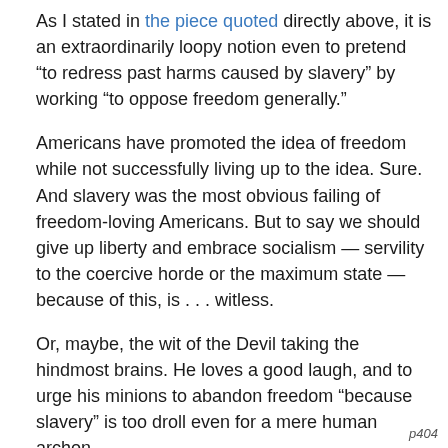As I stated in the piece quoted directly above, it is an extraordinarily loopy notion even to pretend “to redress past harms caused by slavery” by working “to oppose freedom generally.”
Americans have promoted the idea of freedom while not successfully living up to the idea. Sure. And slavery was the most obvious failing of freedom-loving Americans. But to say we should give up liberty and embrace socialism — servility to the coercive horde or the maximum state — because of this, is . . . witless.
Or, maybe, the wit of the Devil taking the hindmost brains. He loves a good laugh, and to urge his minions to abandon freedom “because slavery” is too droll even for a mere human archon.
p404